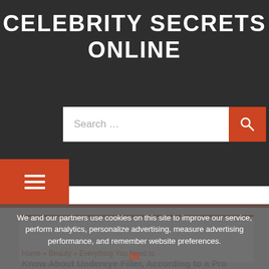CELEBRITY SECRETS ONLINE
[Figure (screenshot): Search bar with orange search button]
[Figure (screenshot): Hamburger menu button in orange]
We and our partners use cookies on this site to improve our service, perform analytics, personalize advertising, measure advertising performance, and remember website preferences.
Ok